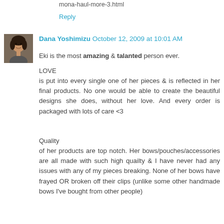mona-haul-more-3.html
Reply
[Figure (photo): Avatar photo of Dana Yoshimizu, a woman with dark hair]
Dana Yoshimizu  October 12, 2009 at 10:01 AM
Eki is the most amazing & talanted person ever.
LOVE
is put into every single one of her pieces & is reflected in her final products. No one would be able to create the beautiful designs she does, without her love. And every order is packaged with lots of care <3
Quality
of her products are top notch. Her bows/pouches/accessories are all made with such high quailty & I have never had any issues with any of my pieces breaking. None of her bows have frayed OR broken off their clips (unlike some other handmade bows I've bought from other people)